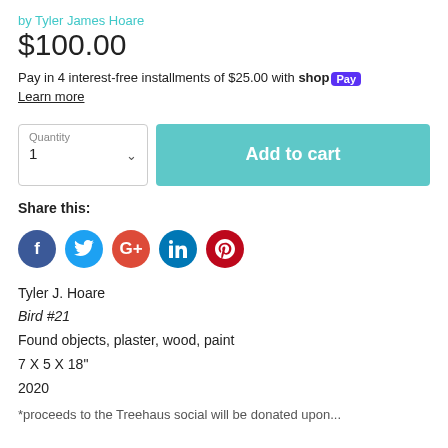by Tyler James Hoare
$100.00
Pay in 4 interest-free installments of $25.00 with shop Pay
Learn more
[Figure (screenshot): Quantity selector dropdown showing '1' and an Add to cart teal button]
Share this:
[Figure (infographic): Social media share icons: Facebook (blue), Twitter (light blue), Google+ (red-orange), LinkedIn (blue), Pinterest (dark red)]
Tyler J. Hoare
Bird #21
Found objects, plaster, wood, paint
7 X 5 X 18"
2020
*proceeds to the Treehaus social will be donated upon...